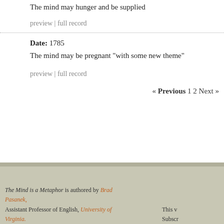The mind may hunger and be supplied
preview | full record
Date: 1785
The mind may be pregnant "with some new theme"
preview | full record
« Previous 1 2 Next »
The Mind is a Metaphor is authored by Brad Pasanek, Assistant Professor of English, University of Virginia. This v Subscr